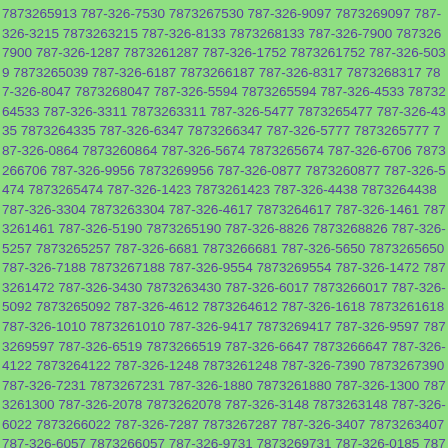7873265913 787-326-7530 7873267530 787-326-9097 7873269097 787-326-3215 7873263215 787-326-8133 7873268133 787-326-7900 7873267900 787-326-1287 7873261287 787-326-1752 7873261752 787-326-5039 7873265039 787-326-6187 7873266187 787-326-8317 7873268317 787-326-8047 7873268047 787-326-5594 7873265594 787-326-4533 7873264533 787-326-3311 7873263311 787-326-5477 7873265477 787-326-4335 7873264335 787-326-6347 7873266347 787-326-5777 7873265777 787-326-0864 7873260864 787-326-5674 7873265674 787-326-6706 7873266706 787-326-9956 7873269956 787-326-0877 7873260877 787-326-5474 7873265474 787-326-1423 7873261423 787-326-4438 7873264438 787-326-3304 7873263304 787-326-4617 7873264617 787-326-1461 7873261461 787-326-5190 7873265190 787-326-8826 7873268826 787-326-5257 7873265257 787-326-6681 7873266681 787-326-5650 7873265650 787-326-7188 7873267188 787-326-9554 7873269554 787-326-1472 7873261472 787-326-3430 7873263430 787-326-6017 7873266017 787-326-5092 7873265092 787-326-4612 7873264612 787-326-1618 7873261618 787-326-1010 7873261010 787-326-9417 7873269417 787-326-9597 7873269597 787-326-6519 7873266519 787-326-6647 7873266647 787-326-4122 7873264122 787-326-1248 7873261248 787-326-7390 7873267390 787-326-7231 7873267231 787-326-1880 7873261880 787-326-1300 7873261300 787-326-2078 7873262078 787-326-3148 7873263148 787-326-6022 7873266022 787-326-7287 7873267287 787-326-3407 7873263407 787-326-6057 7873266057 787-326-9731 7873269731 787-326-0185 7873260185 787-326-0107 7873260107